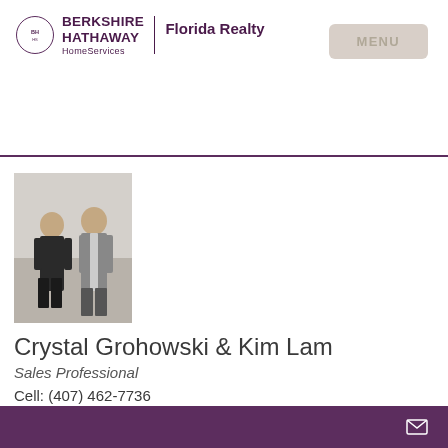[Figure (logo): Berkshire Hathaway HomeServices Florida Realty logo with circular BH emblem and text]
MENU
[Figure (photo): Two real estate agents, a woman in black and a man in a gray suit, standing outdoors]
Crystal Grohowski & Kim Lam
Sales Professional
Cell: (407) 462-7736
Office: (407) 462-7736
crystal@ckhomesorlando.com
Designations: Luxury Collection Specialist,